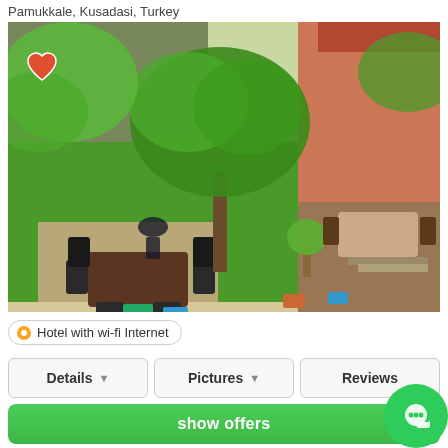Pamukkale, Kusadasi, Turkey
[Figure (photo): Aerial view of a garden courtyard with green lawn, outdoor dining table with chairs, potted plants and colorful planters, trees with fresh green leaves, and surrounding building structures in terracotta and stone.]
Hotel with wi-fi Internet
Details
Pictures
Reviews
show offers